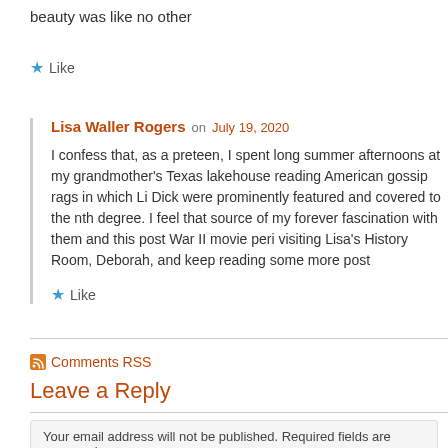beauty was like no other
★ Like
Lisa Waller Rogers
on July 19, 2020
I confess that, as a preteen, I spent long summer afternoons at my grandmother's Texas lakehouse reading American gossip rags in which Li Dick were prominently featured and covered to the nth degree. I feel that source of my forever fascination with them and this post War II movie peri visiting Lisa's History Room, Deborah, and keep reading some more post
★ Like
Comments RSS
Leave a Reply
Your email address will not be published. Required fields are marked *